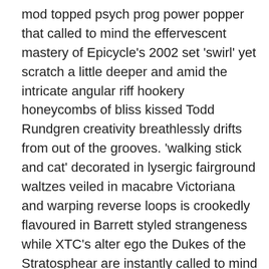mod topped psych prog power popper that called to mind the effervescent mastery of Epicycle's 2002 set 'swirl' yet scratch a little deeper and amid the intricate angular riff hookery honeycombs of bliss kissed Todd Rundgren creativity breathlessly drifts from out of the grooves. 'walking stick and cat' decorated in lysergic fairground waltzes veiled in macabre Victoriana and warping reverse loops is crookedly flavoured in Barrett styled strangeness while XTC's alter ego the Dukes of the Stratosphear are instantly called to mind when the punchy 'good looking boy' rears into ear space. Those of you whose radars are attuned and indeed in awe of Love might be well advised to fall headlong in the lush tonalities offered by 'vaguely disturbed' while devotees of nu psych a la the type once upon a while cooked up by the Elephant 6 collective should see out the smoking sophisticat p's and q's